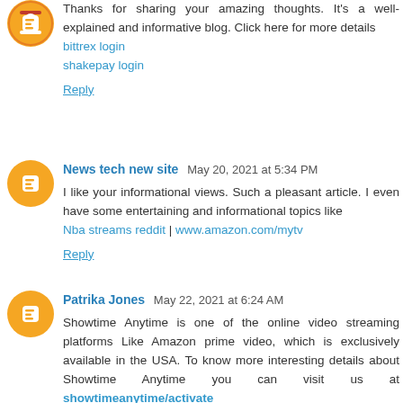Thanks for sharing your amazing thoughts. It's a well-explained and informative blog. Click here for more details bittrex login shakepay login Reply
News tech new site May 20, 2021 at 5:34 PM
I like your informational views. Such a pleasant article. I even have some entertaining and informational topics like Nba streams reddit | www.amazon.com/mytv
Reply
Patrika Jones May 22, 2021 at 6:24 AM
Showtime Anytime is one of the online video streaming platforms Like Amazon prime video, which is exclusively available in the USA. To know more interesting details about Showtime Anytime you can visit us at showtimeanytime/activate